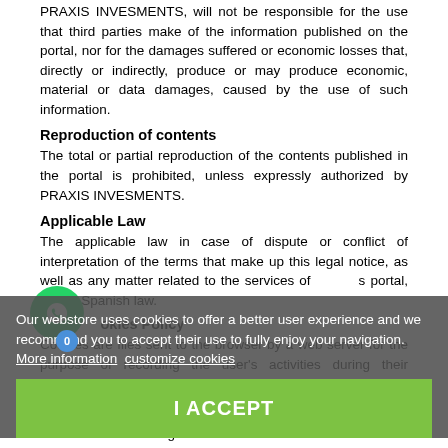PRAXIS INVESMENTS, will not be responsible for the use that third parties make of the information published on the portal, nor for the damages suffered or economic losses that, directly or indirectly, produce or may produce economic, material or data damages, caused by the use of such information.
Reproduction of contents
The total or partial reproduction of the contents published in the portal is prohibited, unless expressly authorized by PRAXIS INVESMENTS.
Applicable Law
The applicable law in case of dispute or conflict of interpretation of the terms that make up this legal notice, as well as any matter related to the services of this portal, will be Spanish law.
Cookies Policy
Cookies are files sent to the browser by a web server for the purpose of recording the user's activities during their browsing time.
Through the use of cookies, both from the website and third parties related to it, it is possible to know
[Figure (other): WhatsApp contact button (green circle with WhatsApp logo)]
Our webstore uses cookies to offer a better user experience and we recommend you to accept their use to fully enjoy your navigation. More information customize cookies
I ACCEPT
and other data relating to user behavior on the